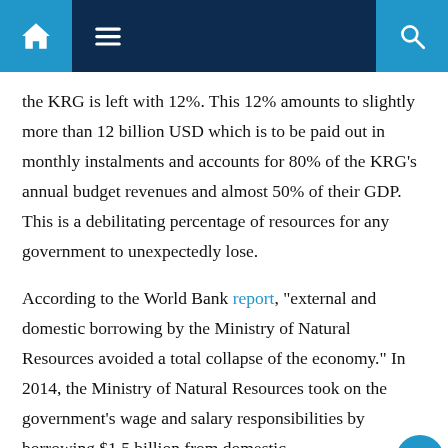Navigation bar with home, menu, and search icons
the KRG is left with 12%. This 12% amounts to slightly more than 12 billion USD which is to be paid out in monthly instalments and accounts for 80% of the KRG’s annual budget revenues and almost 50% of their GDP. This is a debilitating percentage of resources for any government to unexpectedly lose.
According to the World Bank report, “external and domestic borrowing by the Ministry of Natural Resources avoided a total collapse of the economy.” In 2014, the Ministry of Natural Resources took on the government’s wage and salary responsibilities by borrowing $1.5 billion from domestic